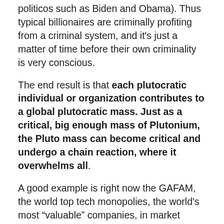politicos such as Biden and Obama). Thus typical billionaires are criminally profiting from a criminal system, and it's just a matter of time before their own criminality is very conscious.
The end result is that each plutocratic individual or organization contributes to a global plutocratic mass. Just as a critical, big enough mass of Plutonium, the Pluto mass can become critical and undergo a chain reaction, where it overwhelms all.
A good example is right now the GAFAM, the world top tech monopolies, the world's most “valuable” companies, in market capitalization: a deliberate effort, probably driven by the US Deep State (NSA, etc.) was made to create world monopolies of information, to, simply, rule the world (the GAFAM themselves being controlled by the Deep